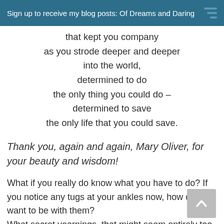Sign up to receive my blog posts: Of Dreams and Daring
that kept you company
as you strode deeper and deeper
into the world,
determined to do
the only thing you could do –
determined to save
the only life that you could save.
Thank you, again and again, Mary Oliver, for your beauty and wisdom!
What if you really do know what you have to do? If you notice any tugs at your ankles now, how do you want to be with them?
What secret yearnings, that might seem entirely too wild and fearless, are whispering to you these days?